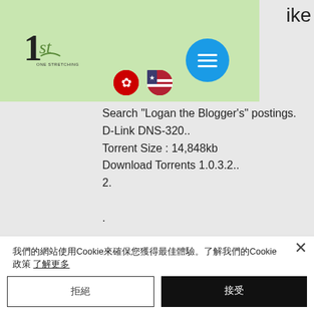[Figure (screenshot): Website navigation bar with green background, logo '1st ONE STRETCHING', Hong Kong and US flag icons, and a blue circular menu button with hamburger icon]
ike
Search "Logan the Blogger's" postings.
D-Link DNS-320..
Torrent Size : 14,848kb
Download Torrents 1.0.3.2..
2.
.
Download utility keygen free of cost.
I will show you how to download and use the installer in the next couple.
Download utilities program free.
COUNTER.
Elsa Utility Keygen.
22 April 2020.
我們的網站使用Cookie來確保您獲得最佳體驗。了解我們的Cookie政策 了解更多
拒絕
接受